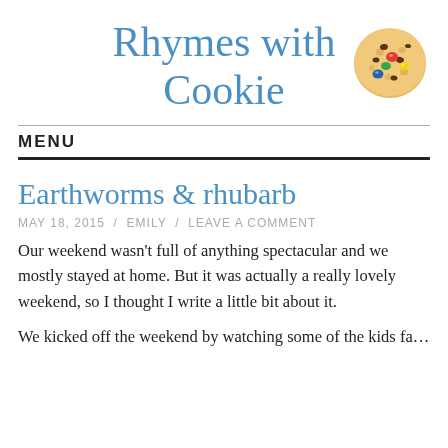Rhymes with Cookie
[Figure (illustration): Cookie with colorful M&M candies, round, top-right of header]
MENU
Earthworms & rhubarb
MAY 18, 2015 / EMILY / LEAVE A COMMENT
Our weekend wasn't full of anything spectacular and we mostly stayed at home. But it was actually a really lovely weekend, so I thought I write a little bit about it.
We kicked off the weekend by watching some of the kids fa...